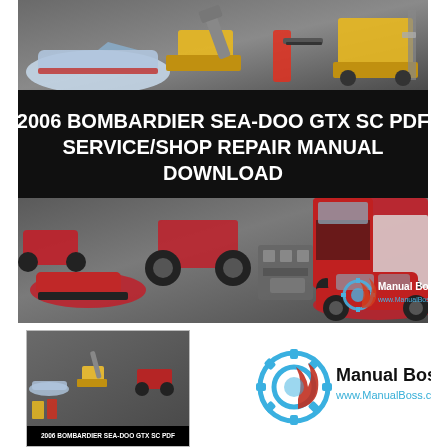[Figure (illustration): Large banner image showing various vehicles (boat, bulldozer, chainsaw, forklift, tractor) at the top, a black title band in the middle with white text, and vehicles (ATV, motorcycle, semi truck, car, snowmobile, engine) at the bottom. Manual Boss logo and URL visible.]
2006 BOMBARDIER SEA-DOO GTX SC PDF SERVICE/SHOP REPAIR MANUAL DOWNLOAD
[Figure (illustration): Thumbnail of same banner showing construction vehicles, boat, tractor. Text at bottom: 2006 BOMBARDIER SEA-DOO GTX SC PDF]
[Figure (logo): Manual Boss logo with wrench/gear icon in blue and red, text 'Manual Boss' and 'www.ManualBoss.com']